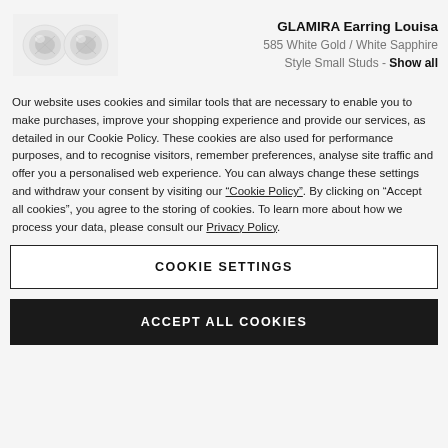[Figure (photo): Two diamond stud earrings in white gold, product photo]
GLAMIRA Earring Louisa
585 White Gold / White Sapphire
Style Small Studs - Show all
Our website uses cookies and similar tools that are necessary to enable you to make purchases, improve your shopping experience and provide our services, as detailed in our Cookie Policy. These cookies are also used for performance purposes, and to recognise visitors, remember preferences, analyse site traffic and offer you a personalised web experience. You can always change these settings and withdraw your consent by visiting our “Cookie Policy”. By clicking on “Accept all cookies”, you agree to the storing of cookies. To learn more about how we process your data, please consult our Privacy Policy.
COOKIE SETTINGS
ACCEPT ALL COOKIES